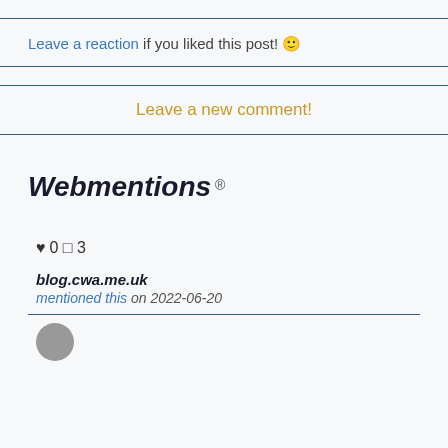Leave a reaction if you liked this post! 🙂
Leave a new comment!
Webmentions ®
♥ 0 🗆 3
blog.cwa.me.uk
mentioned this on 2022-06-20
[Figure (illustration): Gray circular avatar]